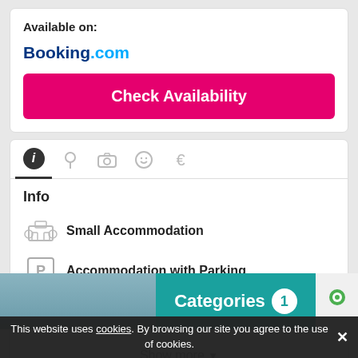Available on:
Booking.com
Check Availability
Info
Small Accommodation
Accommodation with Parking
4-Star Accommodation
Show more
Categories  1
This website uses cookies. By browsing our site you agree to the use of cookies.